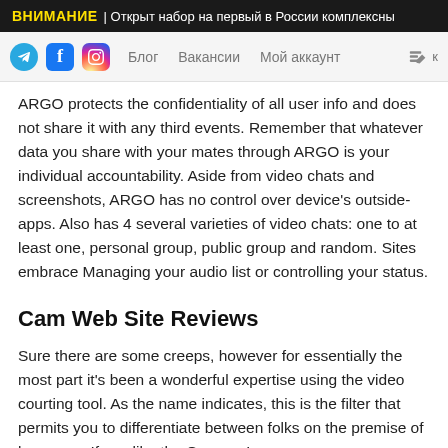ВНИМАНИЕ | Открыт набор на первый в России комплексны
[Figure (screenshot): Navigation bar with Telegram, Facebook, Instagram icons and links: Блог, Вакансии, Мой аккаунт, and an edit icon]
ARGO protects the confidentiality of all user info and does not share it with any third events. Remember that whatever data you share with your mates through ARGO is your individual accountability. Aside from video chats and screenshots, ARGO has no control over device's outside-apps. Also has 4 several varieties of video chats: one to at least one, personal group, public group and random. Sites embrace Managing your audio list or controlling your status.
Cam Web Site Reviews
Sure there are some creeps, however for essentially the most part it's been a wonderful expertise using the video courting tool. As the name indicates, this is the filter that permits you to differentiate between folks on the premise of language. If you like the German La